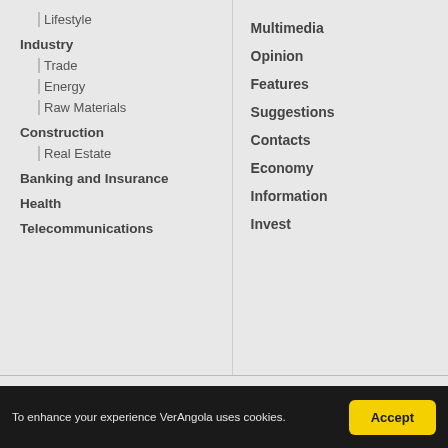Lifestyle
Industry
Trade
Energy
Raw Materials
Construction
Real Estate
Banking and Insurance
Health
Telecommunications
Multimedia
Opinion
Features
Suggestions
Contacts
Economy
Information
Invest
[Figure (infographic): Three social media icons: Facebook (blue circle with f), YouTube (red circle with play button), and a messaging app (green circle with speech bubble)]
To enhance your experience VerAngola uses cookies.